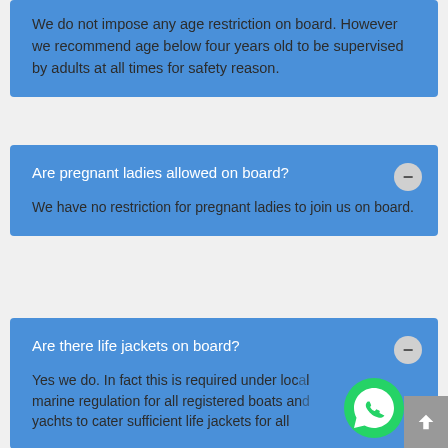We do not impose any age restriction on board. However we recommend age below four years old to be supervised by adults at all times for safety reason.
Are pregnant ladies allowed on board?
We have no restriction for pregnant ladies to join us on board.
Are there life jackets on board?
Yes we do. In fact this is required under local marine regulation for all registered boats and yachts to cater sufficient life jackets for all